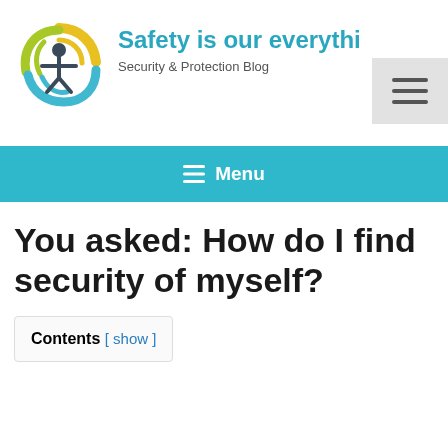[Figure (logo): Circular logo with yellow, green, and blue swirl and a person icon in the center]
Safety is our everythi…
Security & Protection Blog
[Figure (other): Hamburger menu button (three horizontal lines) in a light grey square box]
≡ Menu
You asked: How do I find security of myself?
Contents [ show ]